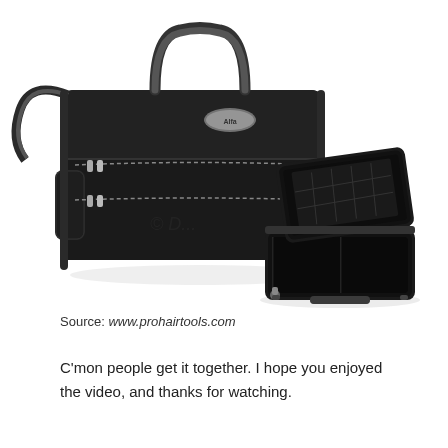[Figure (photo): Product photo showing two black professional makeup/hairstylist cases. The larger closed bag is a rectangular black leatherette bag with a carry strap, multiple zipper compartments, and a small brand logo badge on the front. Below and to the right is a smaller open case showing its interior tray/organizer compartment, with a black plastic insert and zipper pulls visible.]
Source: www.prohairtools.com
C'mon people get it together. I hope you enjoyed the video, and thanks for watching.